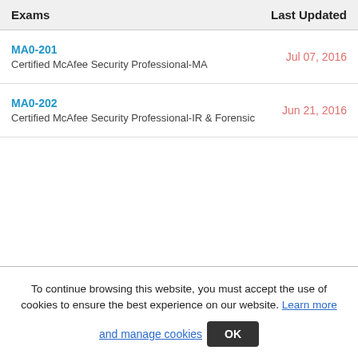| Exams | Last Updated |
| --- | --- |
| MA0-201
Certified McAfee Security Professional-MA | Jul 07, 2016 |
| MA0-202
Certified McAfee Security Professional-IR & Forensic | Jun 21, 2016 |
To continue browsing this website, you must accept the use of cookies to ensure the best experience on our website. Learn more and manage cookies OK